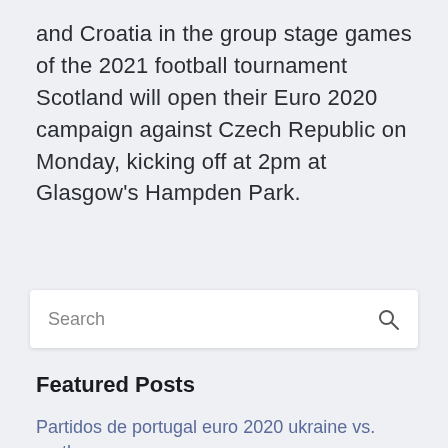and Croatia in the group stage games of the 2021 football tournament Scotland will open their Euro 2020 campaign against Czech Republic on Monday, kicking off at 2pm at Glasgow's Hampden Park.
Search
Featured Posts
Partidos de portugal euro 2020 ukraine vs. north